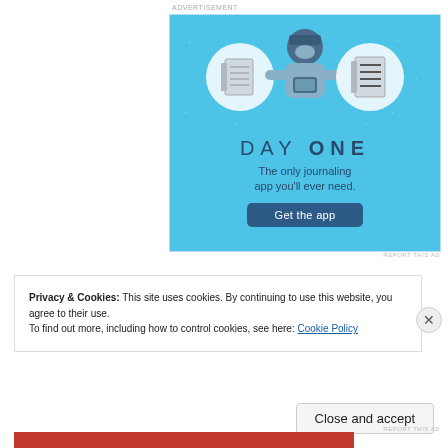ADVERTISEMENT
[Figure (illustration): Day One journaling app advertisement. Light blue background with sparkle stars. Three circular icons: a blank notebook, a person using a phone, and a lined notebook. Text: DAY ONE, The only journaling app you'll ever need. Blue button: Get the app.]
REPORT THIS AD
Privacy & Cookies: This site uses cookies. By continuing to use this website, you agree to their use.
To find out more, including how to control cookies, see here: Cookie Policy
Close and accept
REPORT THIS AD